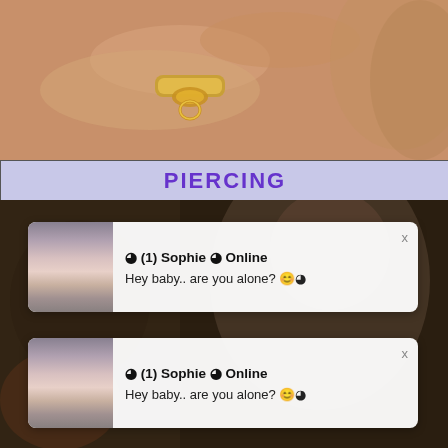[Figure (photo): Close-up photo of a hand wearing a gold ring/piercing jewelry against a warm skin-tone background]
PIERCING
[Figure (screenshot): Screenshot showing two repeated notification popups over a blurred background photo of a dark-haired woman. Each popup shows a thumbnail photo, bold text '(1) Sophie Online' and message 'Hey baby.. are you alone?' with emoji, and an x close button.]